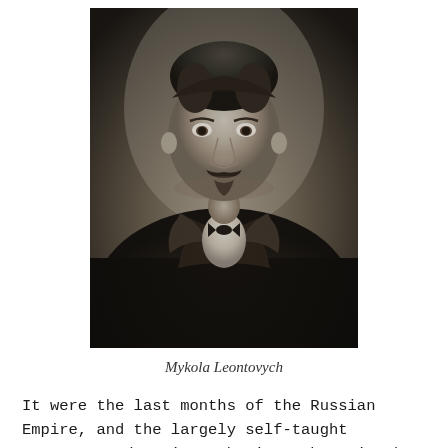[Figure (photo): Black and white portrait photograph of Mykola Leontovych, a young man with short dark hair, mustache and small beard, wearing a dark jacket and white collared shirt with a bow tie or necktie.]
Mykola Leontovych
It were the last months of the Russian Empire, and the largely self-taught composer and music enthusiast, born in the family of a priest near modern-day Vynnytsìa in Ukraine, was one of the